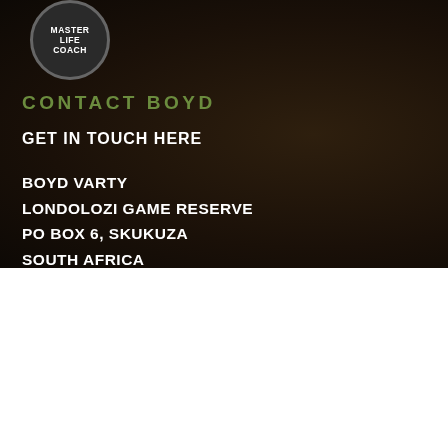[Figure (logo): Master Life Coach circular badge/logo in dark grey with white text]
CONTACT BOYD
GET IN TOUCH HERE
BOYD VARTY
LONDOLOZI GAME RESERVE
PO BOX 6, SKUKUZA
SOUTH AFRICA
We use cookies to optimize our website and our service.
ACCEPT
NO THANKS